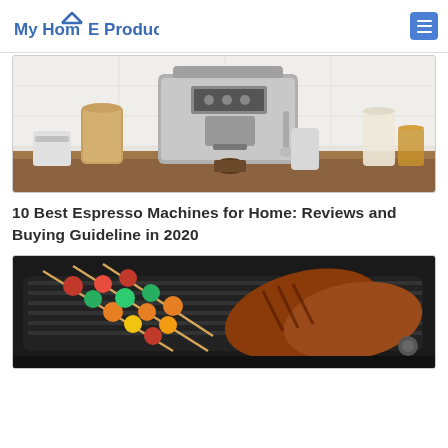My HomE Product
[Figure (photo): Professional espresso machine with coffee accessories on a kitchen counter]
10 Best Espresso Machines for Home: Reviews and Buying Guideline in 2020
[Figure (photo): Electric grill with skewers of vegetables and grilled steaks]